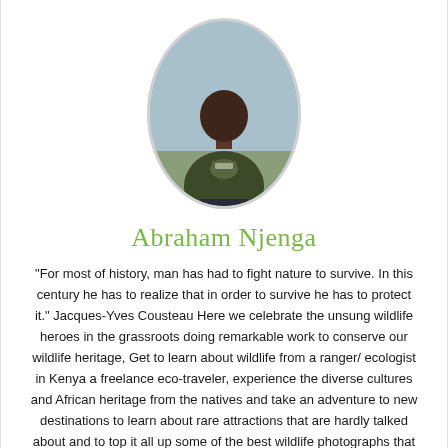[Figure (photo): Oval portrait photo of Abraham Njenga, a man wearing a dark olive/green t-shirt with a graphic on it, standing outdoors against a light sky background.]
Abraham Njenga
“For most of history, man has had to fight nature to survive. In this century he has to realize that in order to survive he has to protect it.” Jacques-Yves Cousteau Here we celebrate the unsung wildlife heroes in the grassroots doing remarkable work to conserve our wildlife heritage, Get to learn about wildlife from a ranger/ ecologist in Kenya a freelance eco-traveler, experience the diverse cultures and African heritage from the natives and take an adventure to new destinations to learn about rare attractions that are hardly talked about and to top it all up some of the best wildlife photographs that will make you reconnect to your wild side appreciate everything around us and fall in love with the natural world, because “It is